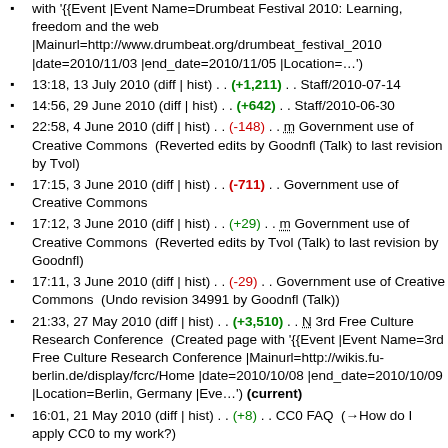with '{{Event |Event Name=Drumbeat Festival 2010: Learning, freedom and the web |Mainurl=http://www.drumbeat.org/drumbeat_festival_2010 |date=2010/11/03 |end_date=2010/11/05 |Location=…')
13:18, 13 July 2010 (diff | hist) . . (+1,211) . . Staff/2010-07-14
14:56, 29 June 2010 (diff | hist) . . (+642) . . Staff/2010-06-30
22:58, 4 June 2010 (diff | hist) . . (-148) . . m Government use of Creative Commons  (Reverted edits by Goodnfl (Talk) to last revision by Tvol)
17:15, 3 June 2010 (diff | hist) . . (-711) . . Government use of Creative Commons
17:12, 3 June 2010 (diff | hist) . . (+29) . . m Government use of Creative Commons  (Reverted edits by Tvol (Talk) to last revision by Goodnfl)
17:11, 3 June 2010 (diff | hist) . . (-29) . . Government use of Creative Commons  (Undo revision 34991 by Goodnfl (Talk))
21:33, 27 May 2010 (diff | hist) . . (+3,510) . . N 3rd Free Culture Research Conference  (Created page with '{{Event |Event Name=3rd Free Culture Research Conference |Mainurl=http://wikis.fu-berlin.de/display/fcrc/Home |date=2010/10/08 |end_date=2010/10/09 |Location=Berlin, Germany |Eve…') (current)
16:01, 21 May 2010 (diff | hist) . . (+8) . . CC0 FAQ  (→How do I apply CC0 to my work?)
16:00, 21 May 2010 (diff | hist) . . (-9) . . CC0 FAQ  (→How